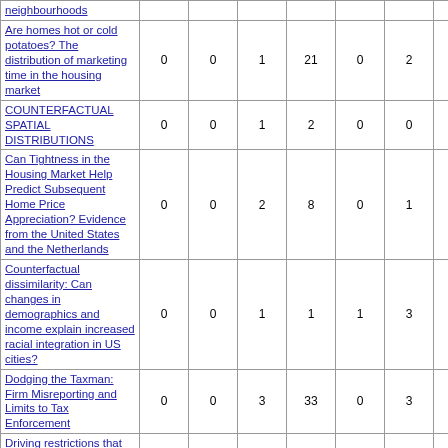| Title | Col1 | Col2 | Col3 | Col4 | Col5 | Col6 | Col7 | Col8 |
| --- | --- | --- | --- | --- | --- | --- | --- | --- |
| neighbourhoods |  |  |  |  |  |  |  |  |
| Are homes hot or cold potatoes? The distribution of marketing time in the housing market | 0 | 0 | 1 | 21 | 0 | 2 | 8 | 104 |
| COUNTERFACTUAL SPATIAL DISTRIBUTIONS | 0 | 0 | 1 | 2 | 0 | 0 | 5 | 21 |
| Can Tightness in the Housing Market Help Predict Subsequent Home Price Appreciation? Evidence from the United States and the Netherlands | 0 | 0 | 2 | 8 | 0 | 1 | 11 | 60 |
| Counterfactual dissimilarity: Can changes in demographics and income explain increased racial integration in US cities? | 0 | 0 | 1 | 1 | 1 | 3 | 7 | 7 |
| Dodging the Taxman: Firm Misreporting and Limits to Tax Enforcement | 0 | 0 | 3 | 33 | 0 | 3 | 12 | 209 |
| Driving restrictions that work? Quito's Pico y Placa Program | 0 | 0 | 0 | 1 | 0 | 1 | 3 | 10 |
| Driving restrictions that work? Quito's Pico y Placa | 0 | 0 | 0 | 16 | 1 | 3 | 12 | 112 |